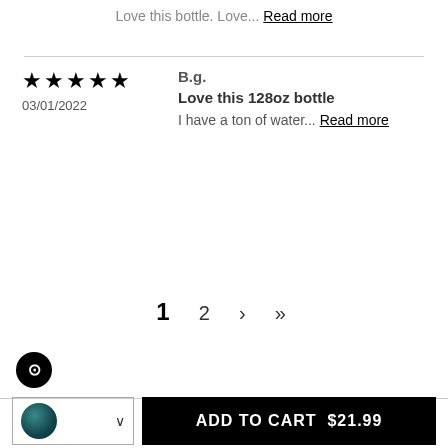Love this bottle. Love... Read more
★★★★★
03/01/2022
B.g.
Love this 128oz bottle
I have a ton of water... Read more
1  2  >  >|
ADD TO CART  $21.99